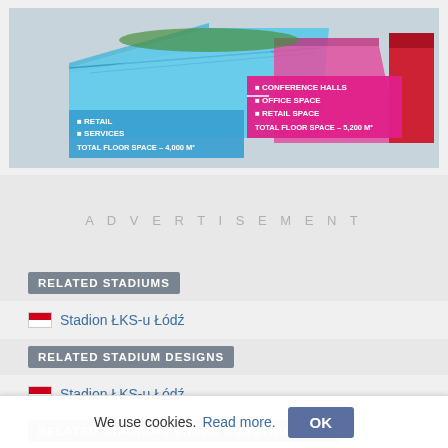[Figure (illustration): Aerial rendering of a stadium with blue and pink/magenta sections labeled. Blue section: RETAIL, SERVICES, TOTAL FLOOR SPACE - 4,000 M². Pink/magenta section: CONFERENCE HALLS, OFFICE SPACE, RETAIL SPACE, TOTAL FLOOR SPACE - 5,200 M².]
ADVERTISEMENT
RELATED STADIUMS
Stadion ŁKS-u Łódź
RELATED STADIUM DESIGNS
Stadion ŁKS-u Łódź
RELATED STADIUMS UNDER CONSTRUCTION
We use cookies. Read more. OK